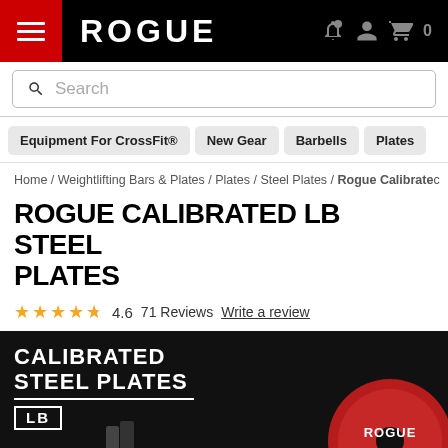ROGUE (navigation header with hamburger menu, logo, and cart icon showing 0)
Search
Equipment For CrossFit®
New Gear
Barbells
Plates
Home / Weightlifting Bars & Plates / Plates / Steel Plates / Rogue Calibrated
ROGUE CALIBRATED LB STEEL PLATES
★★★★½ 4.6  71 Reviews  Write a review
[Figure (photo): Product hero image showing calibrated steel plates on a barbell against a black background with text overlay reading CALIBRATED STEEL PLATES LB and a large red Rogue-branded plate on the right]